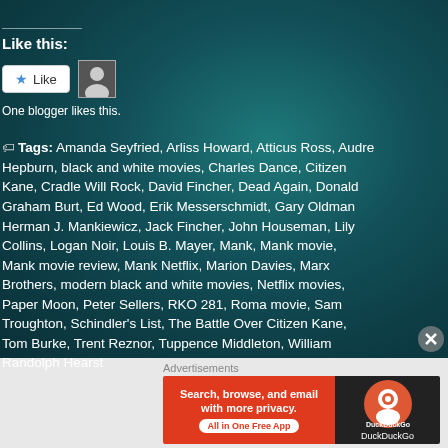Like this:
[Figure (other): Like button with star icon and avatar thumbnail]
One blogger likes this.
Tags: Amanda Seyfried, Arliss Howard, Atticus Ross, Audrey Hepburn, black and white movies, Charles Dance, Citizen Kane, Cradle Will Rock, David Fincher, Dead Again, Donald Graham Burt, Ed Wood, Erik Messerschmidt, Gary Oldman, Herman J. Mankiewicz, Jack Fincher, John Houseman, Lily Collins, Logan Noir, Louis B. Mayer, Mank, Mank movie, Mank movie review, Mank Netflix, Marion Davies, Marx Brothers, modern black and white movies, Netflix movies, Paper Moon, Peter Sellers, RKO 281, Roma movie, Sam Troughton, Schindler's List, The Battle Over Citizen Kane, Tom Burke, Trent Reznor, Tuppence Middleton, William Randolph Hearst
Advertisements
[Figure (other): DuckDuckGo advertisement banner: Search, browse, and email with more privacy. All in One Free App]